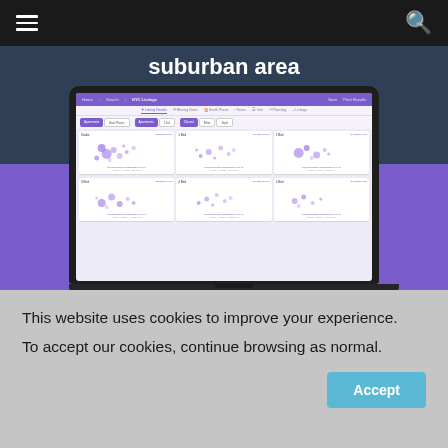suburban area
[Figure (screenshot): Laptop mockup showing a property search web application with a grid of listing cards, each containing scatter-plot style map visualizations of properties in purple, displayed on a dark and purple gradient background]
This website uses cookies to improve your experience.
To accept our cookies, continue browsing as normal.
Accept